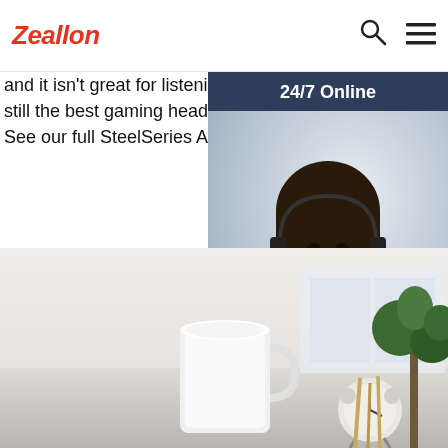Zeallon
and it isn't great for listening to music. Regardless, it's still the best gaming headset you can buy for its price. See our full SteelSeries Arctis 7P ...
Get Price
[Figure (photo): Chat widget with '24/7 Online' header, photo of woman wearing headset, 'Click here for free chat!' text, and QUOTATION button]
[Figure (photo): Bottom section showing a white coffee mug, alarm clock, and green plant on a desk with light background]